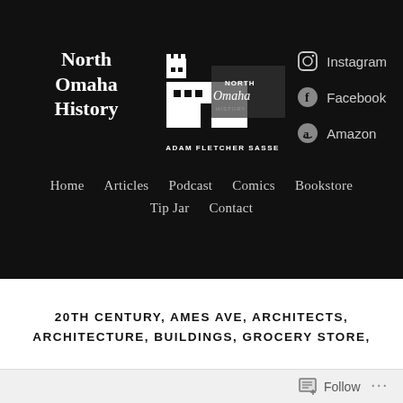North Omaha History
[Figure (logo): North Omaha History logo — building silhouette with 'NORTH Omaha HISTORY' text and 'ADAM FLETCHER SASSE' below]
Instagram
Facebook
Amazon
Home   Articles   Podcast   Comics   Bookstore   Tip Jar   Contact
20TH CENTURY, AMES AVE, ARCHITECTS, ARCHITECTURE, BUILDINGS, GROCERY STORE,
Follow ...